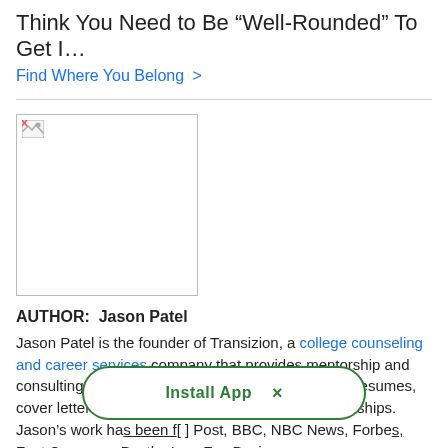Think You Need to Be “Well-Rounded” To Get I…
Find Where You Belong >
[Figure (photo): Broken image placeholder (white box with broken image icon in top-left corner)]
AUTHOR:  Jason Patel
Jason Patel is the founder of Transizion, a college counseling and career services company that provides mentorship and consulting on college applications, college essays, resumes, cover letters, interviews, and finding jobs and internships. Jason’s work ha[s been featured in] Post, BBC, NBC News, Forbes, Fast Company, Bustle, Inc., Fox Business,
Install App  ×